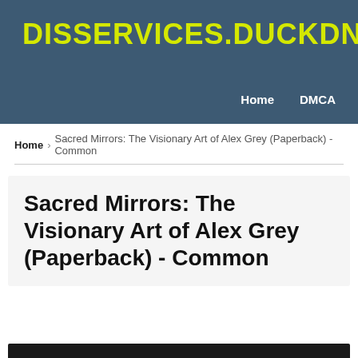DISSERVICES.DUCKDNS.ORG
Home   DMCA
Home > Sacred Mirrors: The Visionary Art of Alex Grey (Paperback) - Common
Sacred Mirrors: The Visionary Art of Alex Grey (Paperback) - Common